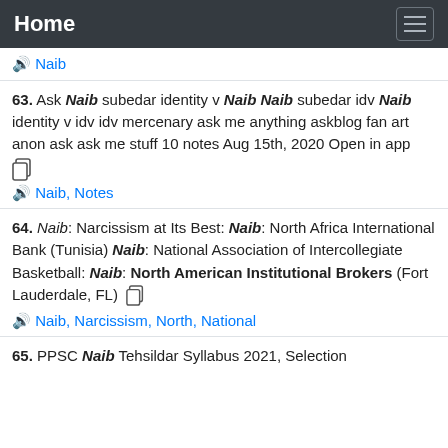Home
🔊 Naib
63. Ask Naib subedar identity v Naib Naib subedar idv Naib identity v idv idv mercenary ask me anything askblog fan art anon ask ask me stuff 10 notes Aug 15th, 2020 Open in app
🔊 Naib, Notes
64. Naib: Narcissism at Its Best: Naib: North Africa International Bank (Tunisia) Naib: National Association of Intercollegiate Basketball: Naib: North American Institutional Brokers (Fort Lauderdale, FL)
🔊 Naib, Narcissism, North, National
65. PPSC Naib Tehsildar Syllabus 2021, Selection